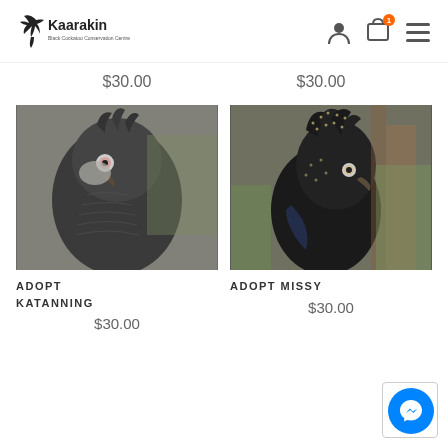Kaarakin Black Cockatoo Conservation Centre
$30.00   $30.00
[Figure (photo): Close-up photo of a black cockatoo facing the camera, with ruffled dark feathers and a pale cheek patch, perched in a cage environment with green foliage in background]
[Figure (photo): Close-up photo of a black cockatoo (Missy) in profile showing speckled crest feathers and dark plumage, with wooden perch and green foliage in background]
ADOPT KATANNING
$30.00
ADOPT MISSY
$30.00